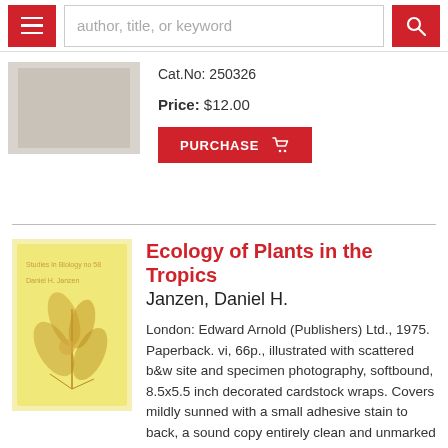author, title, or keyword [search bar with menu and search buttons]
Cat.No: 250326
Price: $12.00
PURCHASE
Ecology of Plants in the Tropics
Janzen, Daniel H.
London: Edward Arnold (Publishers) Ltd., 1975. Paperback. vi, 66p., illustrated with scattered b&w site and specimen photography, softbound, 8.5x5.5 inch decorated cardstock wraps. Covers mildly sunned with a small adhesive stain to back, a sound copy entirely clean and unmarked within. Institute of biology's studies in biology no 58. More>
Cat.No: ...